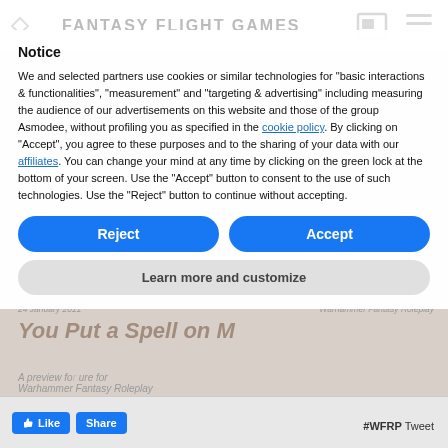[Figure (screenshot): Fantasy Flight Games website header with logo text and navigation icons, partially visible behind cookie notice overlay]
Notice
We and selected partners use cookies or similar technologies for “basic interactions & functionalities”, “measurement” and “targeting & advertising” including measuring the audience of our advertisements on this website and those of the group Asmodee, without profiling you as specified in the cookie policy. By clicking on “Accept”, you agree to these purposes and to the sharing of your data with our affiliates. You can change your mind at any time by clicking on the green lock at the bottom of your screen. Use the “Accept” button to consent to the use of such technologies. Use the “Reject” button to continue without accepting.
Reject
Accept
Learn more and customize
Like  Share  #WFRP Tweet